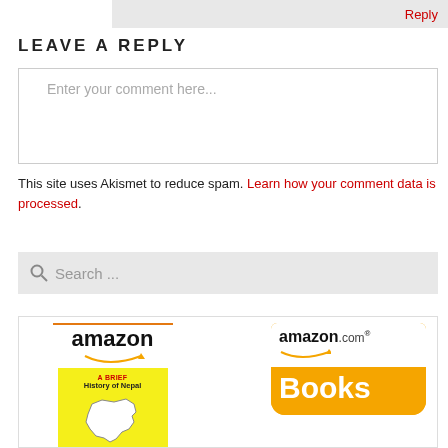Reply
LEAVE A REPLY
Enter your comment here...
This site uses Akismet to reduce spam. Learn how your comment data is processed.
Search ...
[Figure (logo): Amazon logo with orange underline and smile arrow, above a yellow book cover for 'A Brief History of Nepal']
[Figure (logo): amazon.com Books logo — white header with amazon.com brand and smile, orange background with large white 'Books' text]